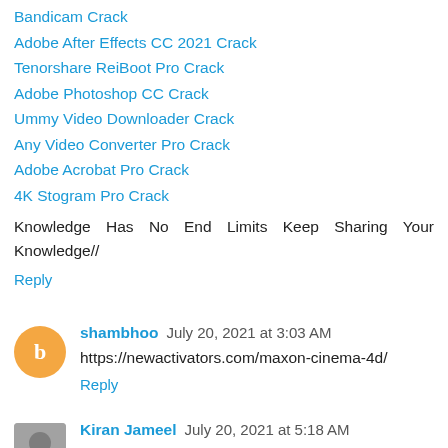Bandicam Crack
Adobe After Effects CC 2021 Crack
Tenorshare ReiBoot Pro Crack
Adobe Photoshop CC Crack
Ummy Video Downloader Crack
Any Video Converter Pro Crack
Adobe Acrobat Pro Crack
4K Stogram Pro Crack
Knowledge Has No End Limits Keep Sharing Your Knowledge//
Reply
shambhoo  July 20, 2021 at 3:03 AM
https://newactivators.com/maxon-cinema-4d/
Reply
Kiran Jameel  July 20, 2021 at 5:18 AM
I guess I am the only one who comes here to share my very own experience guess what? I am using my laptop for